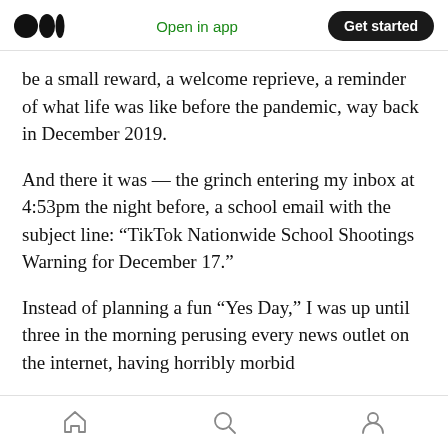Medium logo | Open in app | Get started
be a small reward, a welcome reprieve, a reminder of what life was like before the pandemic, way back in December 2019.
And there it was — the grinch entering my inbox at 4:53pm the night before, a school email with the subject line: “TikTok Nationwide School Shootings Warning for December 17.”
Instead of planning a fun “Yes Day,” I was up until three in the morning perusing every news outlet on the internet, having horribly morbid
Home | Search | Profile